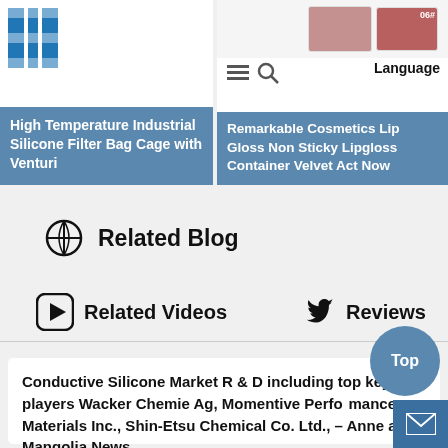[Figure (screenshot): Left product card with blue logo and silicone filter bag cage product listing]
High Temperature Industrial Silicone Filter Bag Cage with Venturi
[Figure (screenshot): Right product card with cosmetics lip gloss product image and navigation icons]
Remarkable Cosmetics Lip Gloss Non Sticky Lipgloss Container Velvet Act Now
Related Blog
Related Videos
Reviews
Conductive Silicone Market R & D including top key players Wacker Chemie Ag, Momentive Performance Materials Inc., Shin-Etsu Chemical Co. Ltd., – Anne and Mangolia News